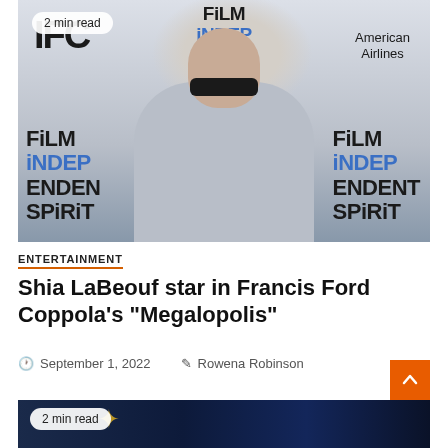[Figure (photo): Shia LaBeouf at Film Independent Spirit Awards red carpet, wearing grey suit and sunglasses, with Film Independent Spirit and American Airlines logos in background. Badge reads '2 min read'.]
ENTERTAINMENT
Shia LaBeouf star in Francis Ford Coppola's "Megalopolis"
September 1, 2022   Rowena Robinson
[Figure (photo): Dark space/astronomy themed image with golden satellite or trophy object visible. Badge reads '2 min read'.]